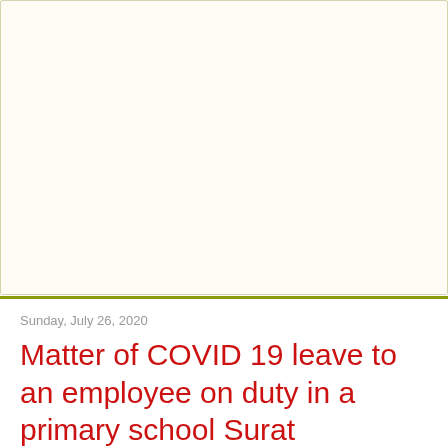[Figure (other): Large blank/white rectangular area at the top of the page, representing an empty image or content block with a light yellowish-white background and olive-colored border.]
Sunday, July 26, 2020
Matter of COVID 19 leave to an employee on duty in a primary school Surat Municipal Corporation